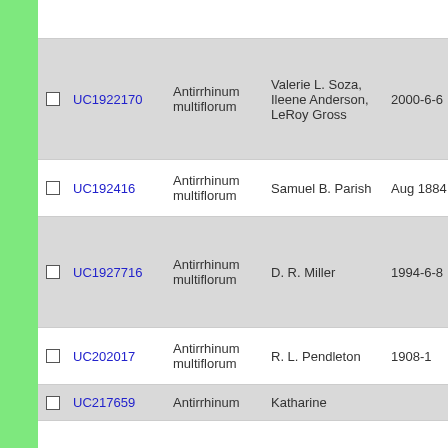|  | ID | Species | Collector | Date | Num |
| --- | --- | --- | --- | --- | --- |
|  | UC1922170 | Antirrhinum multiflorum | Valerie L. Soza, Ileene Anderson, LeRoy Gross | 2000-6-6 | 995 |
|  | UC192416 | Antirrhinum multiflorum | Samuel B. Parish | Aug 1884 | 436 |
|  | UC1927716 | Antirrhinum multiflorum | D. R. Miller | 1994-6-8 | 694 .4 |
|  | UC202017 | Antirrhinum multiflorum | R. L. Pendleton | 1908-1 |  |
|  | UC217659 | Antirrhinum | Katharine |  |  |